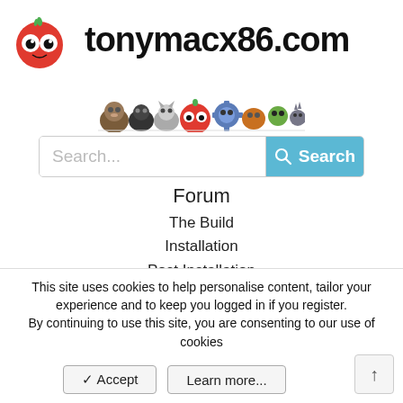tonymacx86.com
[Figure (illustration): Row of cartoon monster/animal mascot characters peeking over a line, colorful characters including a tomato-like creature, cats, owls, and others]
[Figure (screenshot): Search bar with placeholder text 'Search...' and a blue 'Search' button with magnifying glass icon]
Forum
The Build
Installation
Post Installation
The Workshop
The Tools
The Clubhouse
Infinite Loop
Laptops
This site uses cookies to help personalise content, tailor your experience and to keep you logged in if you register.
By continuing to use this site, you are consenting to our use of cookies